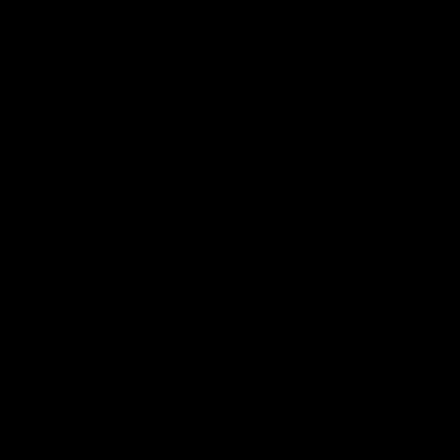Skrillex - Cinema (Francesco Zeta Hardstyle B
Skrillex - Scary Monsters and Nice Sprites (Ha
Skrillex and Damian Marley - Make it Bun De
Smash - Korrekte Bassdrum (Negaive As Synd
Southstylers - Pounding Senses (Hit N Run Ed
SPC Hardcode - Original (Renata Ricciardi R
Speedwave - Zhangar (El Grekoz Remix)-WEI
S-Project - Watch the Bass (Bio Hazard Remix
Star Creatorz - Killzone (Bruno Power Edit Q-
Steen - Bier (Drokz Heinieshardcore Remix)-V
Stereorockerz - Turn Me Out (Festuca Remix)
Stunt Crew and E-Max - Fuck that Hard (Har
Sunwill - Burn Your Love (Amnesys Remix)-W
SweClubberz - No Limits (Azeon Remix)-WEE
SweClubberz - Trichotomy EP-WEB-2014-BC
Swedish House Mafia - Dont You Worry Child
Swedish House Mafia and Knife Party - Antid
Swedish House Mafia And Laidback Luke - 2011-BC
Swedish House Mafia Ft John Martin - Dont Y
Sylence - Happyness-WEB-2015-BC
Sylenth and Glitch - Music in You (A-Lusion 2
Tatanka and Zatox - Gangsta (Hard Twins Sup
Tatanka and Zatox Vs Jajox - Gangstas Back U
T-Bounce - So Get Up Incl Xtortion RMX-PR